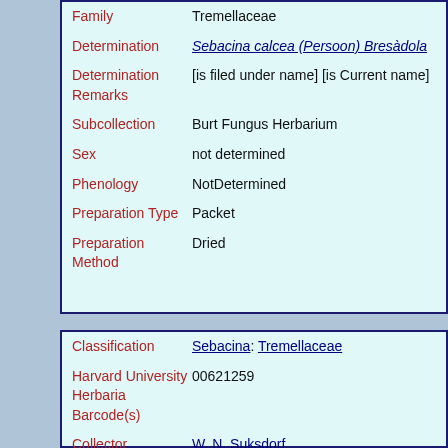| Field | Value |
| --- | --- |
| Family | Tremellaceae |
| Determination | Sebacina calcea (Persoon) Bresàdola |
| Determination Remarks | [is filed under name] [is Current name] |
| Subcollection | Burt Fungus Herbarium |
| Sex | not determined |
| Phenology | NotDetermined |
| Preparation Type | Packet |
| Preparation Method | Dried |
| Field | Value |
| --- | --- |
| Classification | Sebacina: Tremellaceae |
| Harvard University Herbaria Barcode(s) | 00621259 |
| Collector | W. N. Suksdorf |
| Collector number | 864 |